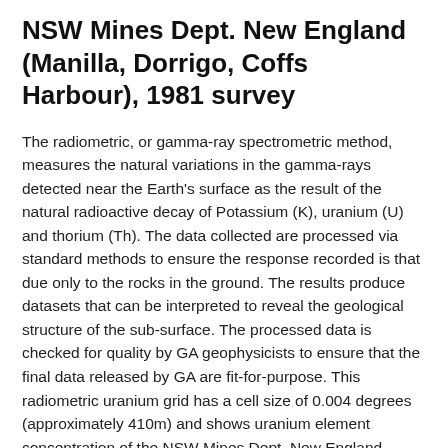NSW Mines Dept. New England (Manilla, Dorrigo, Coffs Harbour), 1981 survey
The radiometric, or gamma-ray spectrometric method, measures the natural variations in the gamma-rays detected near the Earth's surface as the result of the natural radioactive decay of Potassium (K), uranium (U) and thorium (Th). The data collected are processed via standard methods to ensure the response recorded is that due only to the rocks in the ground. The results produce datasets that can be interpreted to reveal the geological structure of the sub-surface. The processed data is checked for quality by GA geophysicists to ensure that the final data released by GA are fit-for-purpose. This radiometric uranium grid has a cell size of 0.004 degrees (approximately 410m) and shows uranium element concentration of the NSW Mines Dept. New England (Manilla, Dorrigo, Coffs Harbour), 1981 survey. The data used to produce this grid was acquired in 1981 by the NSW Government, and consisted of 22000 line-kilometres of data at 1500m line spacing and 150m